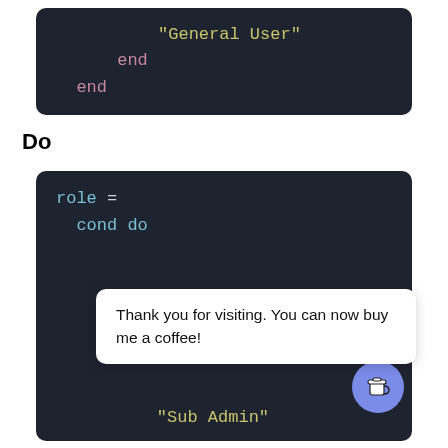[Figure (screenshot): Code block showing 'end' and 'end' keywords in a dark-themed code editor, with indented string 'General User' above.]
Do
[Figure (screenshot): Code block showing 'role = cond do' with a tooltip overlay saying 'Thank you for visiting. You can now buy me a coffee!' and a coffee cup button. Below shows partial '"Sub Admin"' string.]